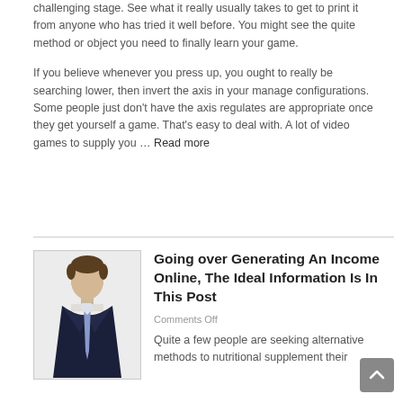challenging stage. See what it really usually takes to get to print it from anyone who has tried it well before. You might see the quite method or object you need to finally learn your game.
If you believe whenever you press up, you ought to really be searching lower, then invert the axis in your manage configurations. Some people just don't have the axis regulates are appropriate once they get yourself a game. That's easy to deal with. A lot of video games to supply you … Read more
[Figure (photo): Photo of a young man in a dark suit and tie, standing against a white background]
Going over Generating An Income Online, The Ideal Information Is In This Post
Comments Off
Quite a few people are seeking alternative methods to nutritional supplement their